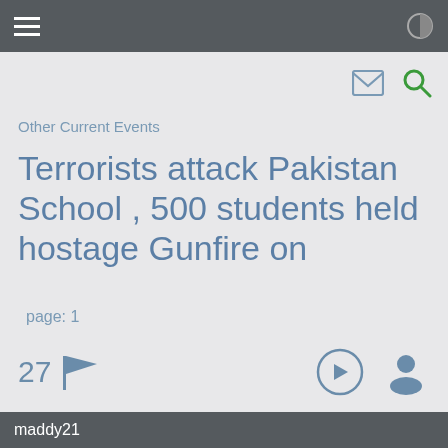≡ (hamburger menu) | (brightness icon)
Other Current Events
Terrorists attack Pakistan School , 500 students held hostage Gunfire on
page: 1
27 (flag icon)
<< • 2 3 4 >>
share: (facebook) (twitter) (email) (pinterest) (+)
maddy21